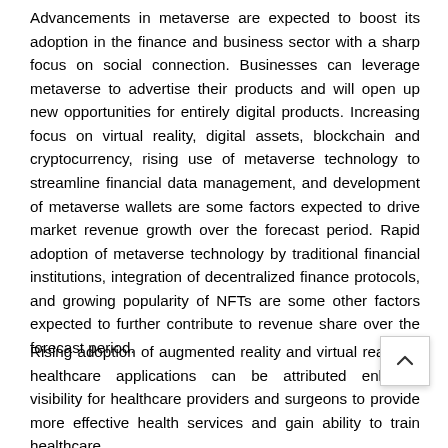Advancements in metaverse are expected to boost its adoption in the finance and business sector with a sharp focus on social connection. Businesses can leverage metaverse to advertise their products and will open up new opportunities for entirely digital products. Increasing focus on virtual reality, digital assets, blockchain and cryptocurrency, rising use of metaverse technology to streamline financial data management, and development of metaverse wallets are some factors expected to drive market revenue growth over the forecast period. Rapid adoption of metaverse technology by traditional financial institutions, integration of decentralized finance protocols, and growing popularity of NFTs are some other factors expected to further contribute to revenue share over the forecast period.
Rising adoption of augmented reality and virtual reality in healthcare applications can be attributed enhance visibility for healthcare providers and surgeons to provide more effective health services and gain ability to train healthcare